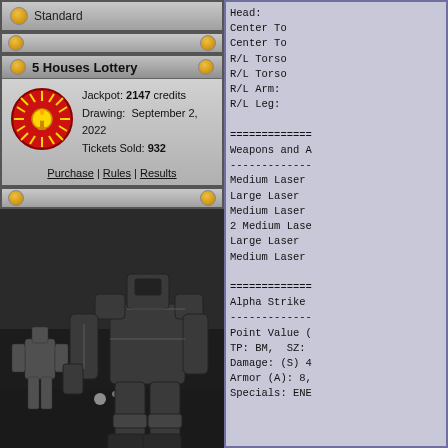Standard
5 Houses Lottery
Jackpot: 2147 credits
Drawing: September 2, 2022
Tickets Sold: 932
Purchase | Rules | Results
[Figure (illustration): Black and white illustration of two large battle mechs in a combat scene with debris and explosions]
Head:
Center To
Center To
R/L Torso
R/L Torso
R/L Arm:
R/L Leg:

=============
Weapons and A
-------------
Medium Laser
Large Laser
Medium Laser
2 Medium Lase
Large Laser
Medium Laser

=============
Alpha Strike
-------------
Point Value (
TP: BM, SZ:
Damage: (S) 4
Armor (A): 8,
Specials: ENE